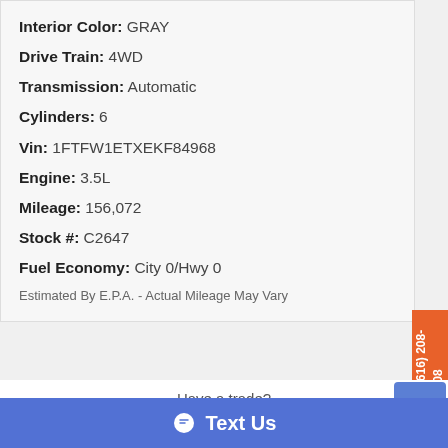Interior Color: GRAY
Drive Train: 4WD
Transmission: Automatic
Cylinders: 6
Vin: 1FTFW1ETXEKF84968
Engine: 3.5L
Mileage: 156,072
Stock #: C2647
Fuel Economy: City 0/Hwy 0
Estimated By E.P.A. - Actual Mileage May Vary
Text Us: (616) 208-4808
Have a trade?
See what Its worth!
Start by entering and selecting your year, make, model, and trim
Text Us